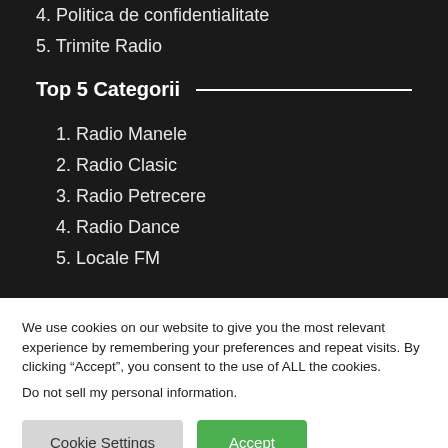4. Politica de confidentialitate
5. Trimite Radio
Top 5 Categorii
1. Radio Manele
2. Radio Clasic
3. Radio Petrecere
4. Radio Dance
5. Locale FM
We use cookies on our website to give you the most relevant experience by remembering your preferences and repeat visits. By clicking “Accept”, you consent to the use of ALL the cookies.
Do not sell my personal information.
Cookie Settings
Accept